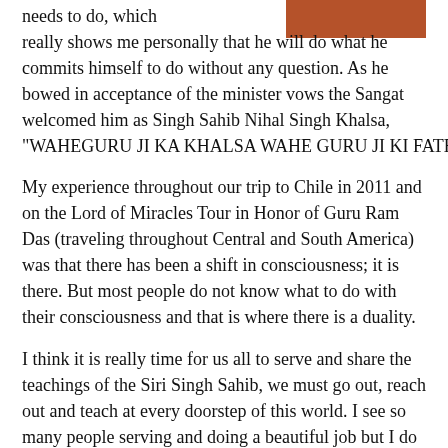[Figure (photo): Partial photo visible in top-right corner, reddish/brown tones]
needs to do, which really shows me personally that he will do what he commits himself to do without any question. As he bowed in acceptance of the minister vows the Sangat welcomed him as Singh Sahib Nihal Singh Khalsa, "WAHEGURU JI KA KHALSA WAHE GURU JI KI FATEH!"
My experience throughout our trip to Chile in 2011 and on the Lord of Miracles Tour in Honor of Guru Ram Das (traveling throughout Central and South America) was that there has been a shift in consciousness; it is there. But most people do not know what to do with their consciousness and that is where there is a duality.
I think it is really time for us all to serve and share the teachings of the Siri Singh Sahib, we must go out, reach out and teach at every doorstep of this world. I see so many people serving and doing a beautiful job but I do think that it is time to organize and reach more to the public at large and share the science that was given to us.—by Ram Das Singh (Espanola, NM)